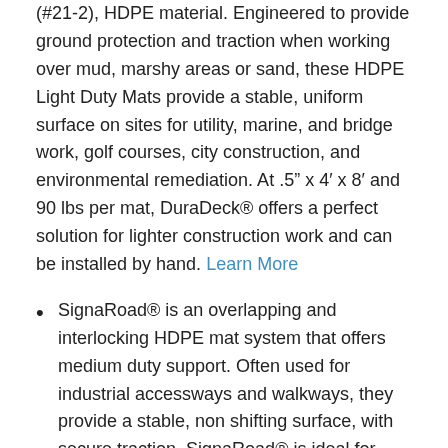(#21-2), HDPE material. Engineered to provide ground protection and traction when working over mud, marshy areas or sand, these HDPE Light Duty Mats provide a stable, uniform surface on sites for utility, marine, and bridge work, golf courses, city construction, and environmental remediation. At .5″ x 4′ x 8′ and 90 lbs per mat, DuraDeck® offers a perfect solution for lighter construction work and can be installed by hand. Learn More
SignaRoad® is an overlapping and interlocking HDPE mat system that offers medium duty support. Often used for industrial accessways and walkways, they provide a stable, non shifting surface, with secure traction. SignaRoad® is ideal for projects with heavier equipment that do not warrant a need for heavy duty matting. At 2.5″ x 6.8′ x 10′ and 496 lbs per mat.